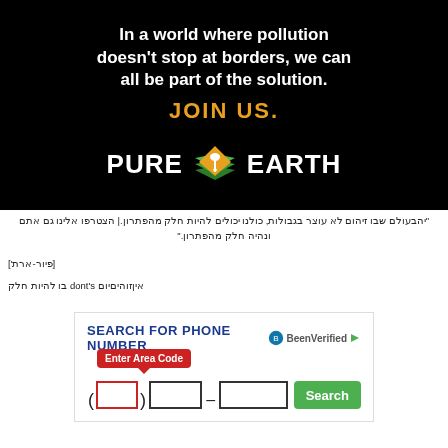[Figure (logo): Pure Earth organization banner ad on black background with white bold text 'In a world where pollution doesn't stop at borders, we can all be part of the solution.' followed by orange bold 'JOIN US.' and the Pure Earth logo with diamond icon.]
“בעולם שבו זיהום לא עוצר בגבולות, כולנו יכולים להיות חלק מהפתרון.| הצטרפו אלינו גם אתם ונהיה חלק מהפתרון.”
[פיור-ארת']
איןזוהיםיום dont's בו להיות חלק
[Figure (screenshot): BeenVerified phone number search widget with 'SEARCH FOR PHONE NUMBER' title, area code input field with red tooltip 'Enter Area Code', phone number fields formatted as (___) ___-____, and a green Search button.]